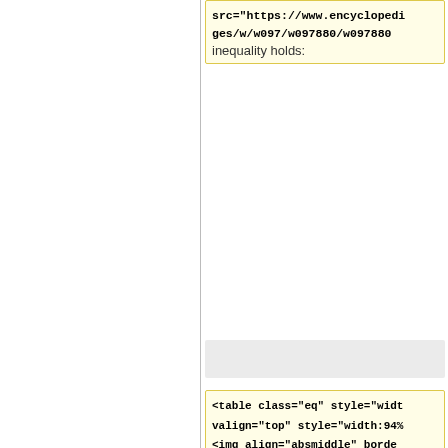src="https://www.encyclopedia
ges/w/w097/w097880/w097880
inequality holds:
[Figure (screenshot): Gray empty box]
<table class="eq" style="widt
valign="top" style="width:94%
<img align="absmiddle" borde
src="https://www.encyclopedi
ges/w/w097/w097880/w097880
</table>
[Figure (screenshot): Gray empty box]
The asymptotic behaviour of the